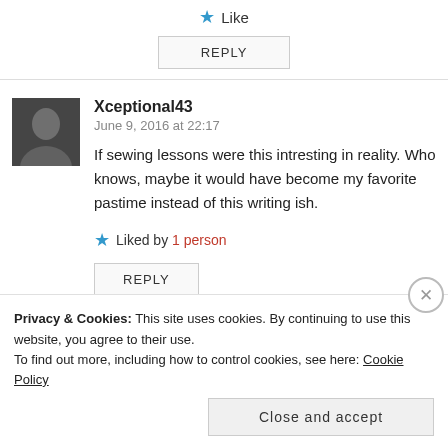★ Like
REPLY
Xceptional43
June 9, 2016 at 22:17
If sewing lessons were this intresting in reality. Who knows, maybe it would have become my favorite pastime instead of this writing ish.
★ Liked by 1 person
REPLY
Privacy & Cookies: This site uses cookies. By continuing to use this website, you agree to their use.
To find out more, including how to control cookies, see here: Cookie Policy
Close and accept